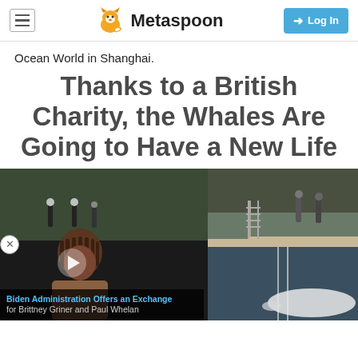Metaspoon
Ocean World in Shanghai.
Thanks to a British Charity, the Whales Are Going to Have a New Life
[Figure (photo): Composite photo: top half shows people in helmets near a waterway with a dock; bottom-left shows a woman with dreadlocks with a video player overlay for 'Biden Administration Offers an Exchange for Brittney Griner and Paul Whelan'; bottom-right shows more of the dock/waterway scene with a white beluga whale visible.]